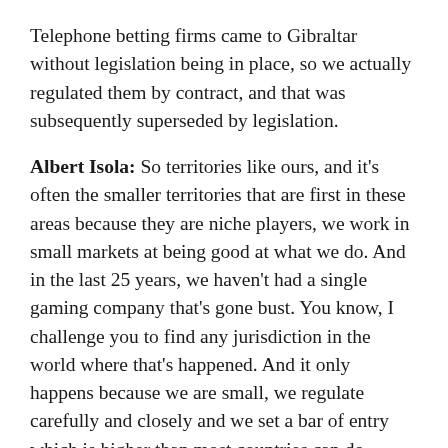Telephone betting firms came to Gibraltar without legislation being in place, so we actually regulated them by contract, and that was subsequently superseded by legislation.
Albert Isola: So territories like ours, and it's often the smaller territories that are first in these areas because they are niche players, we work in small markets at being good at what we do. And in the last 25 years, we haven't had a single gaming company that's gone bust. You know, I challenge you to find any jurisdiction in the world where that's happened. And it only happens because we are small, we regulate carefully and closely and we set a bar of entry which is higher than most countries can do.